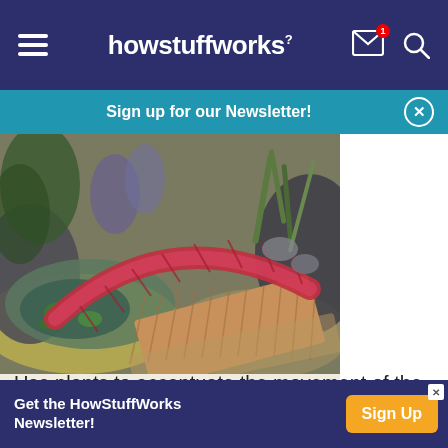howstuffworks
Sign up for our Newsletter!
[Figure (photo): A wooden footbridge with red painted trim arching over a small garden pond with lily pads, surrounded by decorative gravel and ornamental plants.]
Water gardens attract attention in a landscape garden design.
Use plants to accentuate the movement of the wind
Get the HowStuffWorks Newsletter!